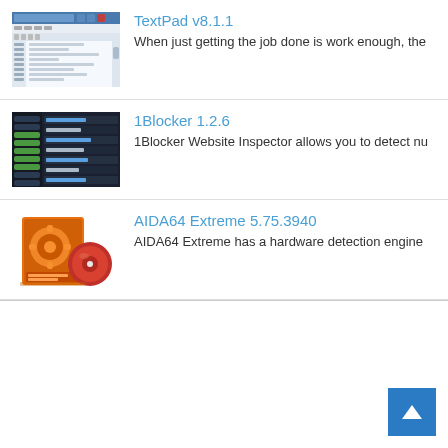[Figure (screenshot): Screenshot thumbnail of TextPad v8.1.1 application showing text editor interface with blue window chrome]
TextPad v8.1.1
When just getting the job done is work enough, the
[Figure (screenshot): Screenshot thumbnail of 1Blocker 1.2.6 application showing a dark UI with list of website entries]
1Blocker 1.2.6
1Blocker Website Inspector allows you to detect nu
[Figure (photo): Product box and CD of AIDA64 Extreme software with orange gear/mechanical design]
AIDA64 Extreme 5.75.3940
AIDA64 Extreme has a hardware detection engine